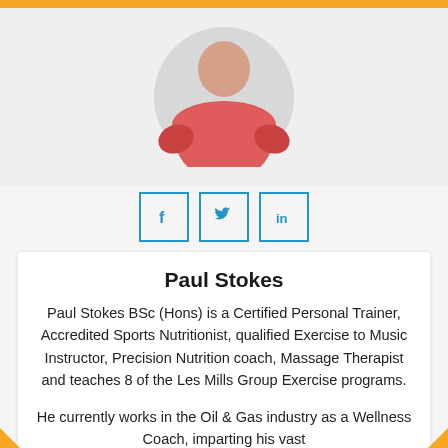[Figure (photo): Circular headshot photo of Paul Stokes wearing a red/coral t-shirt, shown from chest up against a light background]
[Figure (illustration): Three social media icon buttons in a row: Facebook (f), Twitter (bird), LinkedIn (in), each in a square border with blue color]
Paul Stokes
Paul Stokes BSc (Hons) is a Certified Personal Trainer, Accredited Sports Nutritionist, qualified Exercise to Music Instructor, Precision Nutrition coach, Massage Therapist and teaches 8 of the Les Mills Group Exercise programs.
He currently works in the Oil & Gas industry as a Wellness Coach, imparting his vast